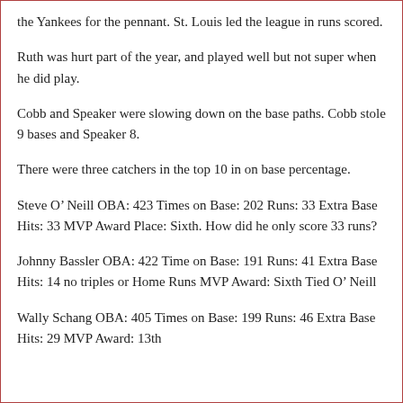the Yankees for the pennant. St. Louis led the league in runs scored.
Ruth was hurt part of the year, and played well but not super when he did play.
Cobb and Speaker were slowing down on the base paths. Cobb stole 9 bases and Speaker 8.
There were three catchers in the top 10 in on base percentage.
Steve O’ Neill OBA: 423 Times on Base: 202 Runs: 33 Extra Base Hits: 33 MVP Award Place: Sixth. How did he only score 33 runs?
Johnny Bassler OBA: 422 Time on Base: 191 Runs: 41 Extra Base Hits: 14 no triples or Home Runs MVP Award: Sixth Tied O’ Neill
Wally Schang OBA: 405 Times on Base: 199 Runs: 46 Extra Base Hits: 29 MVP Award: 13th